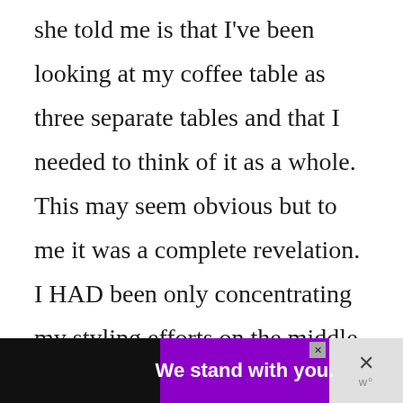she told me is that I've been looking at my coffee table as three separate tables and that I needed to think of it as a whole.  This may seem obvious but to me it was a complete revelation.  I HAD been only concentrating my styling efforts on the middle table and then wondering what to do with the two half circle end tables that butt up against it.  Why was I doing this?  Who knows.
[Figure (other): Advertisement banner at bottom of page: black background on left, bold text 'We stand with you.' on purple background in center with small close X button, and gray panel on right with X close button and 'w' logo mark]